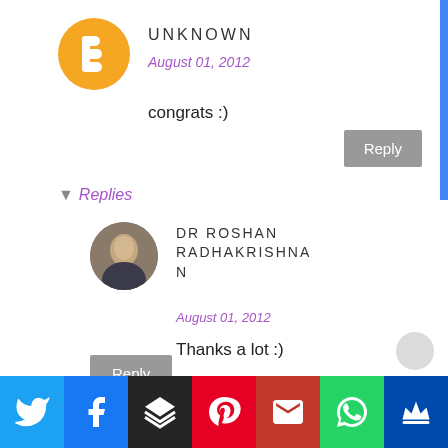[Figure (logo): Blogger avatar icon — orange circle with white B letter]
UNKNOWN
August 01, 2012
congrats :)
▾ Replies
[Figure (photo): Profile photo of Dr Roshan Radhakrishnan]
DR ROSHAN RADHAKRISHNAN
August 01, 2012
Thanks a lot :)
[Figure (infographic): Social sharing bar with Twitter, Facebook, Buffer, Pinterest, Gmail, WhatsApp, and crown icon buttons]